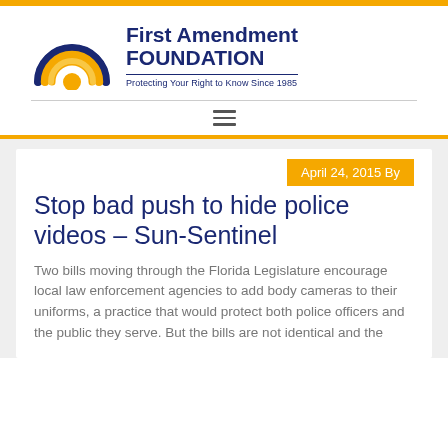[Figure (logo): First Amendment Foundation logo with rainbow arc icon and text 'First Amendment FOUNDATION — Protecting Your Right to Know Since 1985']
≡
April 24, 2015 By
Stop bad push to hide police videos – Sun-Sentinel
Two bills moving through the Florida Legislature encourage local law enforcement agencies to add body cameras to their uniforms, a practice that would protect both police officers and the public they serve. But the bills are not identical and the